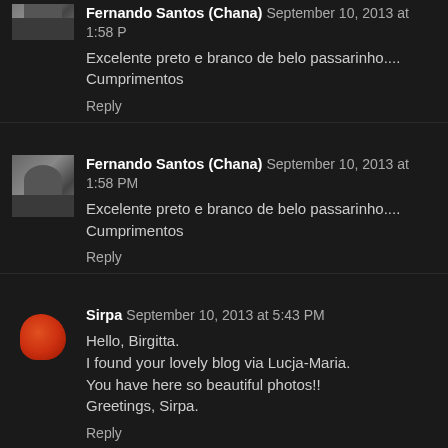Fernando Santos (Chana) September 10, 2013 at 1:58 PM
Excelente preto e branco de belo passarinho.... Cumprimentos
Reply
Fernando Santos (Chana) September 10, 2013 at 1:58 PM
Excelente preto e branco de belo passarinho.... Cumprimentos
Reply
Sirpa September 10, 2013 at 5:43 PM
Hello, Birgitta.
I found your lovely blog via Lucja-Maria.
You have here so beautiful photos!!
Greetings, Sirpa.
Reply
Jay September 11, 2013 at 12:55 AM